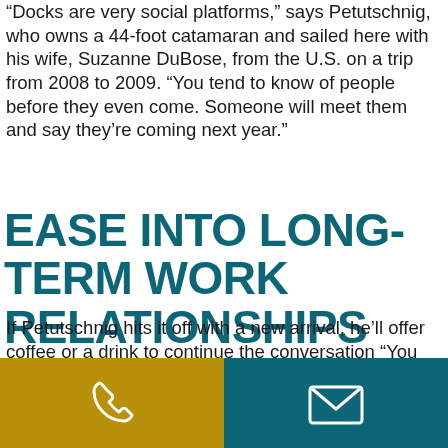“Docks are very social platforms,” says Petutschnig, who owns a 44-foot catamaran and sailed here with his wife, Suzanne DuBose, from the U.S. on a trip from 2008 to 2009. “You tend to know of people before they even come. Someone will meet them and say they’re coming next year.”
EASE INTO LONG-TERM WORK RELATIONSHIPS
If Petutschnig hits it off with a new arrival, he’ll offer coffee or a drink to continue the conversation “You find out about their dreams, where they’re at,” he says. Then he might throw out the possibility of staying in New Zealand for a while by working at ISD. Sometimes, the right candidates will get interested. “They’ll postpone their day of departure from next season to a few seasons down the road,” he says.  And with three-month trial periods of employment typical in New Zealand, both ISD and the candidates know they will have a chance to try out the arrangement before it
[Figure (infographic): Two colored buttons at the bottom: left is gold/yellow with a phone icon, right is teal with an email/envelope icon.]